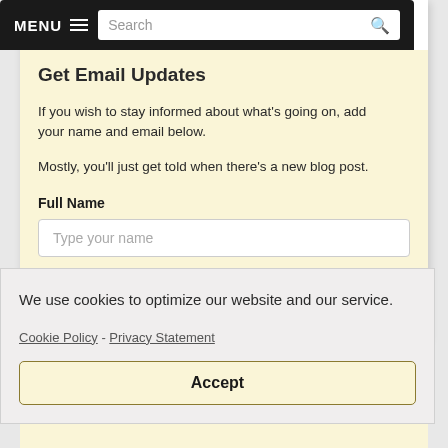MENU ☰  Search
Get Email Updates
If you wish to stay informed about what's going on, add your name and email below.
Mostly, you'll just get told when there's a new blog post.
Full Name
Type your name
We use cookies to optimize our website and our service.
Cookie Policy - Privacy Statement
Accept